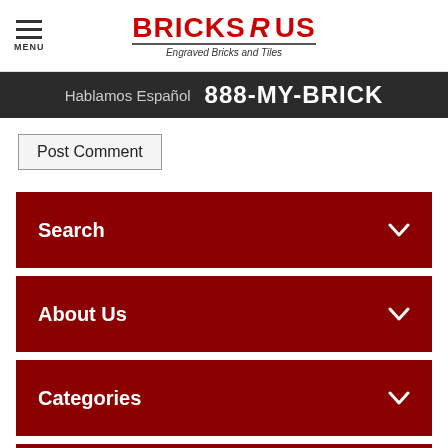BRICKS R US — Engraved Bricks and Tiles
Hablamos Español  888-MY-BRICK
Post Comment
Search
About Us
Categories
Recent Comments
HAVE QUESTIONS? Chat Live Now!